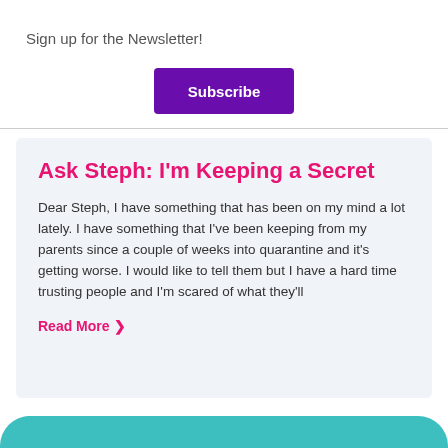Sign up for the Newsletter!
[Figure (other): Purple Subscribe button]
Ask Steph: I'm Keeping a Secret
Dear Steph, I have something that has been on my mind a lot lately. I have something that I've been keeping from my parents since a couple of weeks into quarantine and it's getting worse. I would like to tell them but I have a hard time trusting people and I'm scared of what they'll
Read More ❯